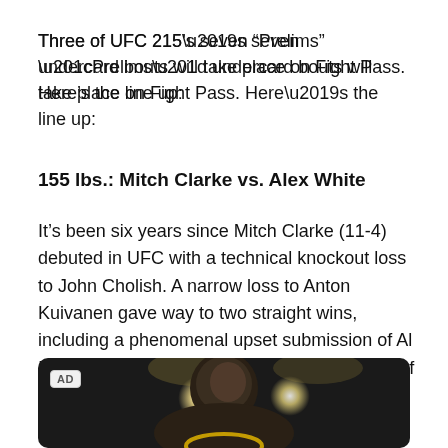Three of UFC 215’s seven “Prelims” undercard bouts will take place on Fight Pass. Here’s the line up:
155 lbs.: Mitch Clarke vs. Alex White
It’s been six years since Mitch Clarke (11-4) debuted in UFC with a technical knockout loss to John Cholish. A narrow loss to Anton Kuivanen gave way to two straight wins, including a phenomenal upset submission of Al Iaquinta, but he enters the cage on the heels of consecutive losses to Michael Chiesa and Joe Duffy.
[Figure (photo): Dark background photo of a male fighter under stage spotlights, with an AD badge visible in the upper left corner of the image frame.]